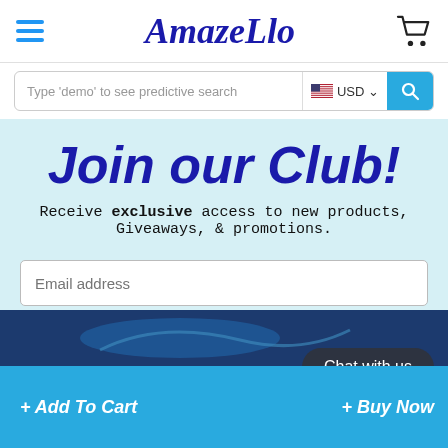[Figure (screenshot): AmazeLlo e-commerce website screenshot showing header with hamburger menu, logo, cart icon, search bar with USD currency selector, and a join club section with email signup form and bottom cart/buy bar.]
AmazeLlo
Type 'demo' to see predictive search
Join our Club!
Receive exclusive access to new products, Giveaways, & promotions.
Email address
Sign me up
Chat with us
+ Add To Cart
+ Buy Now